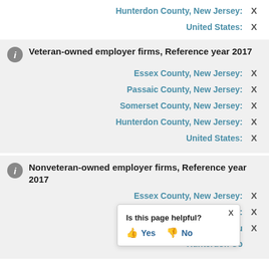Hunterdon County, New Jersey: X
United States: X
Veteran-owned employer firms, Reference year 2017
Essex County, New Jersey: X
Passaic County, New Jersey: X
Somerset County, New Jersey: X
Hunterdon County, New Jersey: X
United States: X
Nonveteran-owned employer firms, Reference year 2017
Essex County, New Jersey: X
Passaic County, New Jersey: X
Somerset County, New Jersey: X
Hunterdon County, New Jersey: X